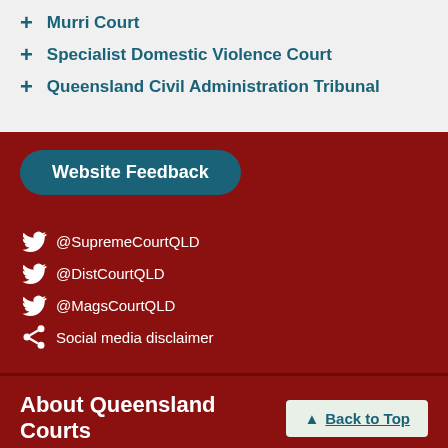+ Murri Court
+ Specialist Domestic Violence Court
+ Queensland Civil Administration Tribunal
Website Feedback
@SupremeCourtQLD
@DistCourtQLD
@MagsCourtQLD
Social media disclaimer
About Queensland Courts
Back to Top